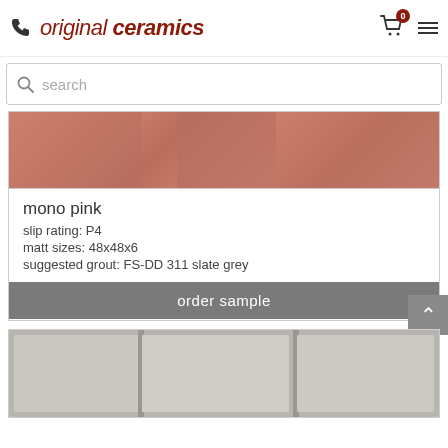original ceramics
search
[Figure (photo): Pink ceramic tiles with grey grout lines]
mono pink
slip rating: P4
matt sizes: 48x48x6
suggested grout: FS-DD 311 slate grey
order sample
[Figure (photo): White/light grey ceramic tiles with grout lines]